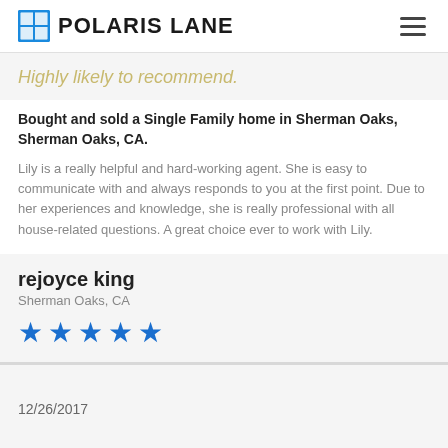POLARIS LANE
Highly likely to recommend.
Bought and sold a Single Family home in Sherman Oaks, Sherman Oaks, CA.
Lily is a really helpful and hard-working agent. She is easy to communicate with and always responds to you at the first point. Due to her experiences and knowledge, she is really professional with all house-related questions. A great choice ever to work with Lily.
rejoyce king
Sherman Oaks, CA
[Figure (other): Five blue star rating icons]
12/26/2017